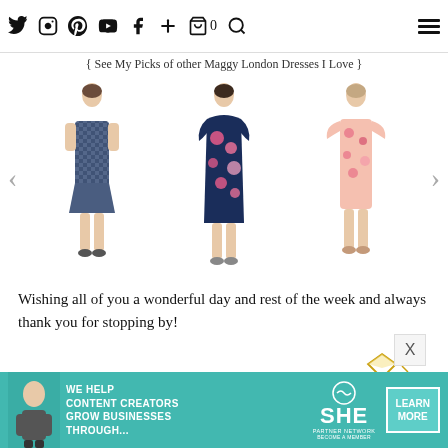[ See My Picks of other Maggy London Dresses I Love ]
[Figure (photo): Carousel of three Maggy London dresses: left - navy geometric print sheath dress, center - pink/navy floral wrap dress, right - pink floral flutter sleeve dress. Navigation arrows on left and right sides.]
Wishing all of you a wonderful day and rest of the week and always thank you for stopping by!
[Figure (illustration): Handwritten gold script signature reading 'xo, debbie' with a diamond ring illustration]
Follow:
[Figure (infographic): Social media follow icons: Twitter, Instagram, Pinterest, YouTube, Facebook, and a plus sign]
[Figure (infographic): SHE Partner Network advertisement banner - teal background with text 'We help content creators grow businesses through...' with SHE logo and LEARN MORE button. X close button visible.]